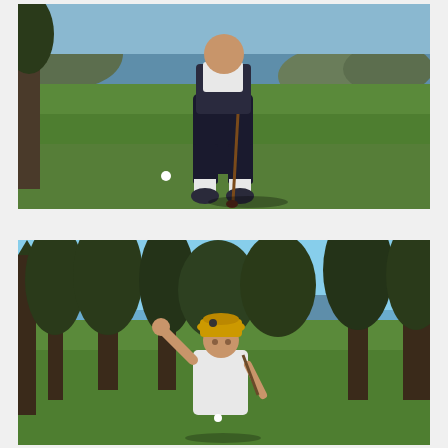[Figure (photo): A person dressed in vintage golf attire (dark knickerbockers, white collared shirt, dark vest) standing on a green golf course fairway, holding an old-style wooden golf club. The ocean and rocky coastal hills are visible in the background under a clear sky. A golf ball is visible on the grass to the lower left.]
[Figure (photo): A woman wearing a yellow bucket hat and white top, waving at the camera with one hand raised, standing on a green golf course. Tall conifer trees frame the background with ocean and blue sky visible beyond. A golf ball is visible on the grass near her feet.]